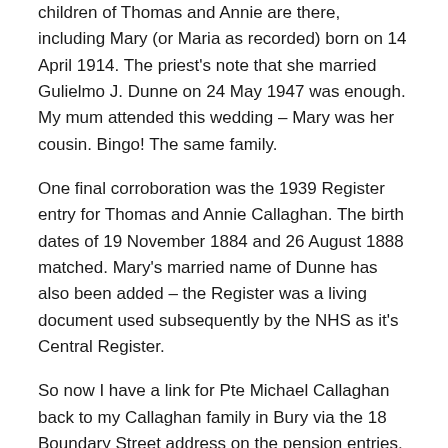children of Thomas and Annie are there, including Mary (or Maria as recorded) born on 14 April 1914. The priest's note that she married Gulielmo J. Dunne on 24 May 1947 was enough. My mum attended this wedding – Mary was her cousin. Bingo! The same family.
One final corroboration was the 1939 Register entry for Thomas and Annie Callaghan. The birth dates of 19 November 1884 and 26 August 1888 matched. Mary's married name of Dunne has also been added – the Register was a living document used subsequently by the NHS as it's Central Register.
So now I have a link for Pte Michael Callaghan back to my Callaghan family in Bury via the 18 Boundary Street address on the pension entries. And it appears I have now evidence of my great uncle's Great War military service